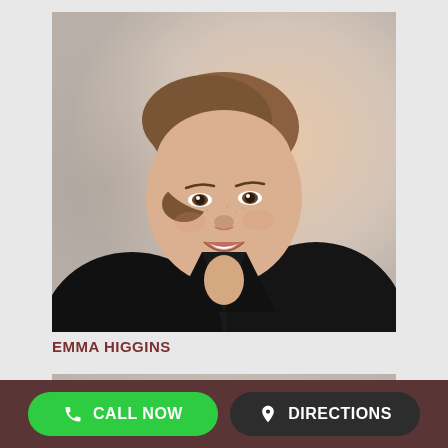[Figure (photo): Professional headshot of Emma Higgins, a young woman with reddish-brown hair pulled back, freckles, smiling, wearing a black blazer, against a soft grey/peach gradient background]
EMMA HIGGINS
[Figure (photo): Partial headshot of a second person visible below, dark hair, cropped at the top of the frame]
CALL NOW
DIRECTIONS